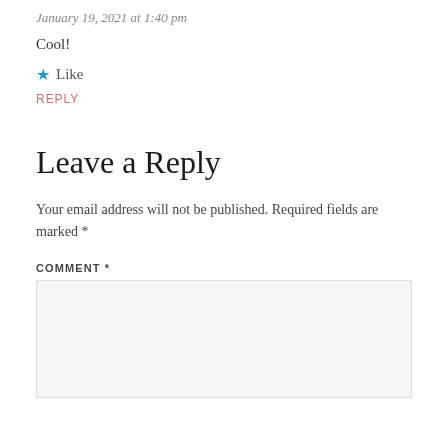January 19, 2021 at 1:40 pm
Cool!
★ Like
REPLY
Leave a Reply
Your email address will not be published. Required fields are marked *
COMMENT *